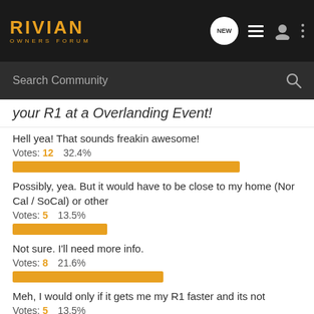RIVIAN OWNERS FORUM
Search Community
your R1 at a Overlanding Event!
Hell yea! That sounds freakin awesome! Votes: 12  32.4%
Possibly, yea. But it would have to be close to my home (Nor Cal / SoCal) or other  Votes: 5  13.5%
Not sure. I'll need more info.  Votes: 8  21.6%
Meh, I would only if it gets me my R1 faster and its not  Votes: 5  13.5%